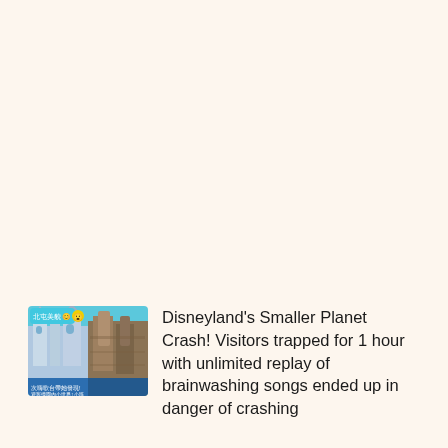[Figure (photo): Thumbnail image showing a Disneyland castle scene with Chinese text overlay, cyan/blue tones with text bubbles]
Disneyland's Smaller Planet Crash! Visitors trapped for 1 hour with unlimited replay of brainwashing songs ended up in danger of crashing